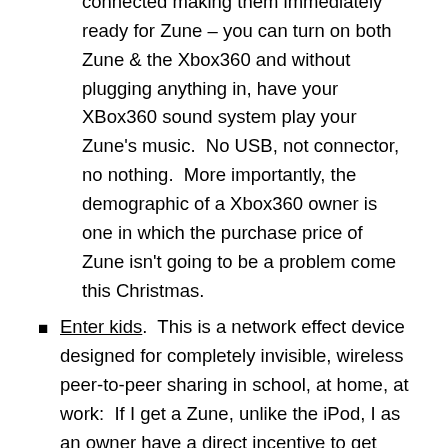connected making them immediately ready for Zune – you can turn on both Zune & the Xbox360 and without plugging anything in, have your XBox360 sound system play your Zune's music.  No USB, not connector, no nothing.  More importantly, the demographic of a Xbox360 owner is one in which the purchase price of Zune isn't going to be a problem come this Christmas.
Enter kids.  This is a network effect device designed for completely invisible, wireless peer-to-peer sharing in school, at home, at work:  If I get a Zune, unlike the iPod, I as an owner have a direct incentive to get others to buy one because the more people that own one, the cooler my experience is.  If I get bored, why not listen to someone else's playlist?  iPod owners really could give a damn whether or not anyone else owns either an iPod or a Creative Labs player.  It's